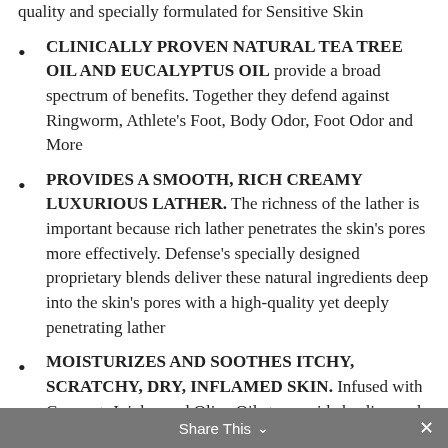quality and specially formulated for Sensitive Skin
CLINICALLY PROVEN NATURAL TEA TREE OIL AND EUCALYPTUS OIL provide a broad spectrum of benefits. Together they defend against Ringworm, Athlete's Foot, Body Odor, Foot Odor and More
PROVIDES A SMOOTH, RICH CREAMY LUXURIOUS LATHER. The richness of the lather is important because rich lather penetrates the skin's pores more effectively. Defense's specially designed proprietary blends deliver these natural ingredients deep into the skin's pores with a high-quality yet deeply penetrating lather
MOISTURIZES AND SOOTHES ITCHY, SCRATCHY, DRY, INFLAMED SKIN. Infused with Coconut, Jojoba, and Olive Oils to provide healing and moisturizing properties that invigorate and
Share This